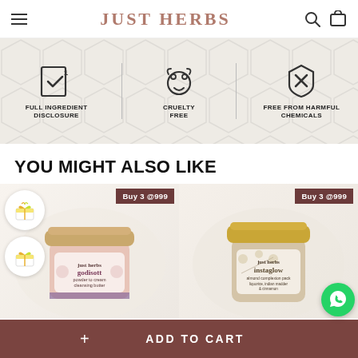JUST HERBS
[Figure (infographic): Three trust badges: Full Ingredient Disclosure icon, Cruelty Free rabbit icon, Free From Harmful Chemicals icon on honeycomb background]
YOU MIGHT ALSO LIKE
[Figure (photo): Just Herbs Godisott product jar with pink label and gold lid, Buy 3 @999 badge]
[Figure (photo): Just Herbs Instaglow almond complexion pack jar with gold lid, Buy 3 @999 badge]
+ ADD TO CART